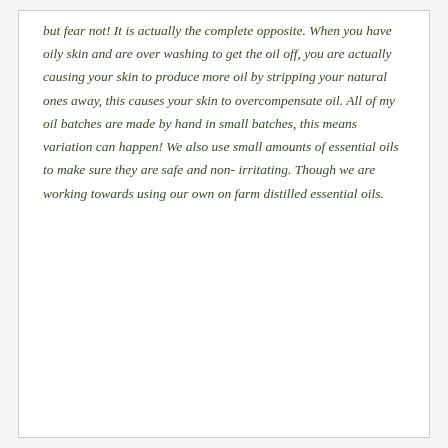but fear not! It is actually the complete opposite. When you have oily skin and are over washing to get the oil off, you are actually causing your skin to produce more oil by stripping your natural ones away, this causes your skin to overcompensate oil. All of my oil batches are made by hand in small batches, this means variation can happen! We also use small amounts of essential oils to make sure they are safe and non- irritating. Though we are working towards using our own on farm distilled essential oils.